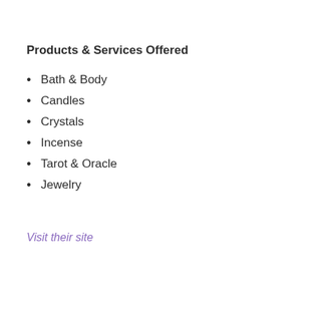Products & Services Offered
Bath & Body
Candles
Crystals
Incense
Tarot & Oracle
Jewelry
Visit their site